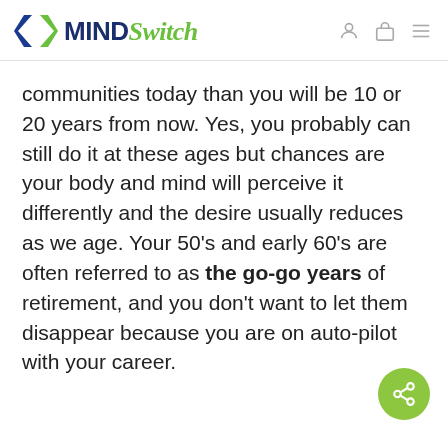[Figure (logo): MindSwitch logo with green chevron arrows and blue/green wordmark]
communities today than you will be 10 or 20 years from now. Yes, you probably can still do it at these ages but chances are your body and mind will perceive it differently and the desire usually reduces as we age. Your 50’s and early 60’s are often referred to as the go-go years of retirement, and you don’t want to let them disappear because you are on auto-pilot with your career.